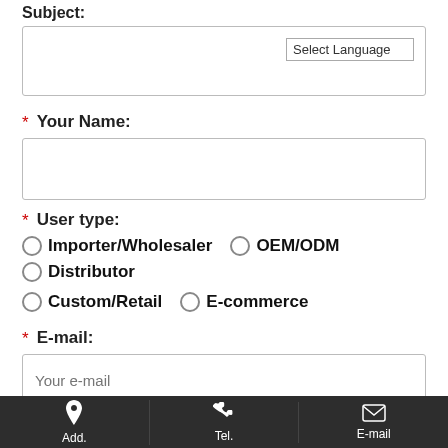Subject:
Select Language
Your Name:
User type:
Importer/Wholesaler
OEM/ODM
Distributor
Custom/Retail
E-commerce
E-mail:
Your e-mail
Phone:
Add.  Tel.  E-mail